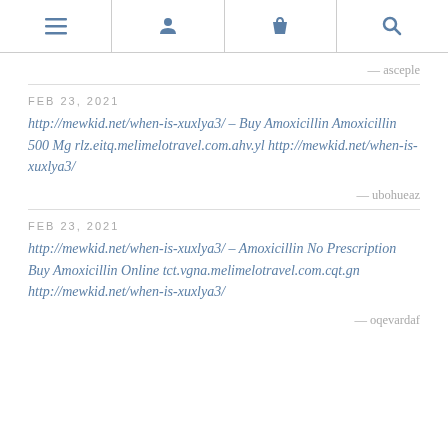[Figure (other): Navigation bar with four icons: hamburger menu, person/user, shopping bag, and search/magnifier]
— asceple
FEB 23, 2021
http://mewkid.net/when-is-xuxlya3/ – Buy Amoxicillin Amoxicillin 500 Mg rlz.eitq.melimelotravel.com.ahv.yl http://mewkid.net/when-is-xuxlya3/
— ubohueaz
FEB 23, 2021
http://mewkid.net/when-is-xuxlya3/ – Amoxicillin No Prescription Buy Amoxicillin Online tct.vgna.melimelotravel.com.cqt.gn http://mewkid.net/when-is-xuxlya3/
— oqevardaf